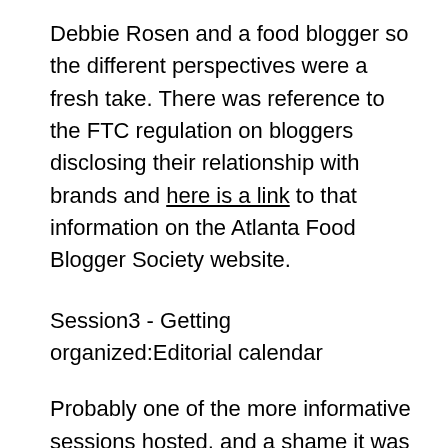Debbie Rosen and a food blogger so the different perspectives were a fresh take. There was reference to the FTC regulation on bloggers disclosing their relationship with brands and here is a link to that information on the Atlanta Food Blogger Society website.
Session3 - Getting organized:Editorial calendar
Probably one of the more informative sessions hosted, and a shame it was on Google hangouts since the connectivity was an issue so a lot was lost in translation for sure. Two very insightful topics touched upon were the need to publish your calendar online to be able to share with not just your readers but also possibly brands and advertisers for your marketing as